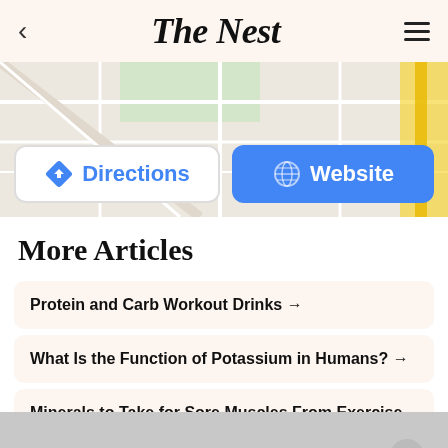The Nest
[Figure (screenshot): Map background with Directions and Website buttons overlaid]
More Articles
Protein and Carb Workout Drinks →
What Is the Function of Potassium in Humans? →
Minerals to Take for Sore Muscles From Exercise →